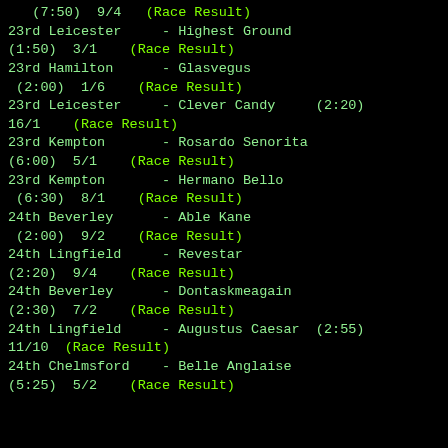(7:50) 9/4  (Race Result)
23rd Leicester     - Highest Ground
(1:50) 3/1  (Race Result)
23rd Hamilton      - Glasvegus
(2:00) 1/6  (Race Result)
23rd Leicester     - Clever Candy    (2:20)
16/1  (Race Result)
23rd Kempton       - Rosardo Senorita
(6:00) 5/1  (Race Result)
23rd Kempton       - Hermano Bello
(6:30) 8/1  (Race Result)
24th Beverley      - Able Kane
(2:00) 9/2  (Race Result)
24th Lingfield     - Revestar
(2:20) 9/4  (Race Result)
24th Beverley      - Dontaskmeagain
(2:30) 7/2  (Race Result)
24th Lingfield     - Augustus Caesar  (2:55)
11/10  (Race Result)
24th Chelmsford    - Belle Anglaise
(5:25) 5/2  (Race Result)